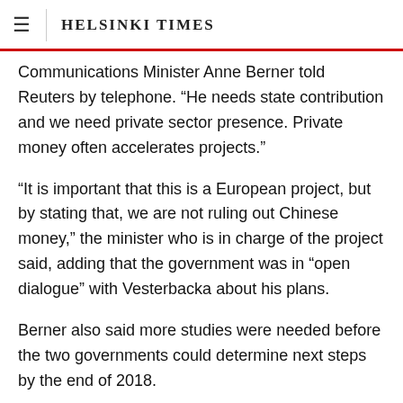HELSINKI TIMES
Communications Minister Anne Berner told Reuters by telephone. “He needs state contribution and we need private sector presence. Private money often accelerates projects.”
“It is important that this is a European project, but by stating that, we are not ruling out Chinese money,” the minister who is in charge of the project said, adding that the government was in “open dialogue” with Vesterbacka about his plans.
Berner also said more studies were needed before the two governments could determine next steps by the end of 2018.
Finland and Estonia have for years considered linking